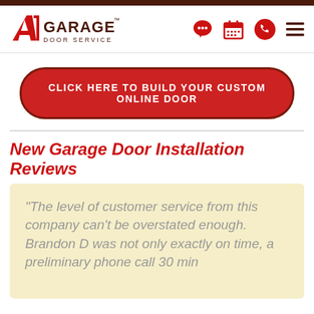[Figure (logo): A1 Garage Door Service logo with red A1 and dark brown GARAGE text]
CLICK HERE TO BUILD YOUR CUSTOM ONLINE DOOR
New Garage Door Installation Reviews
“The level of customer service from this company can’t be overstated enough. Brandon D was not only exactly on time, a preliminary phone call 30 min